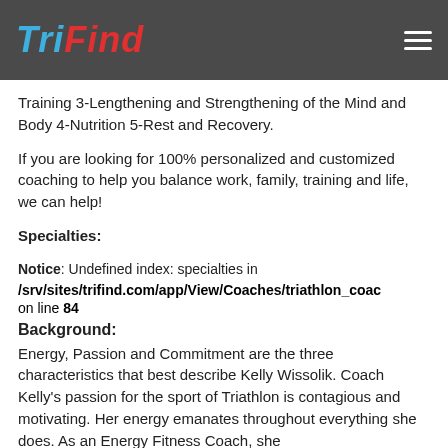TriFind
Training 3-Lengthening and Strengthening of the Mind and Body 4-Nutrition 5-Rest and Recovery.
If you are looking for 100% personalized and customized coaching to help you balance work, family, training and life, we can help!
Specialties:
Notice: Undefined index: specialties in /srv/sites/trifind.com/app/View/Coaches/triathlon_coac on line 84
Background:
Energy, Passion and Commitment are the three characteristics that best describe Kelly Wissolik. Coach Kelly's passion for the sport of Triathlon is contagious and motivating. Her energy emanates throughout everything she does. As an Energy Fitness Coach, she